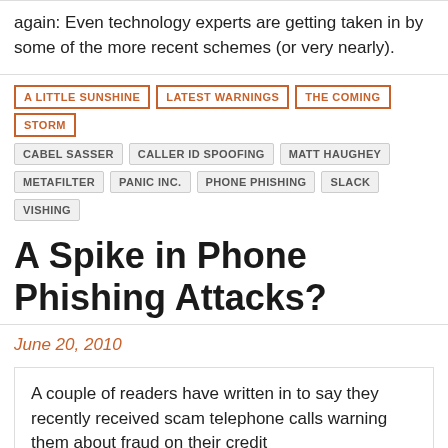again: Even technology experts are getting taken in by some of the more recent schemes (or very nearly).
A LITTLE SUNSHINE
LATEST WARNINGS
THE COMING STORM
CABEL SASSER
CALLER ID SPOOFING
MATT HAUGHEY
METAFILTER
PANIC INC.
PHONE PHISHING
SLACK
VISHING
A Spike in Phone Phishing Attacks?
June 20, 2010
A couple of readers have written in to say they recently received scam telephone calls warning them about fraud on their credit